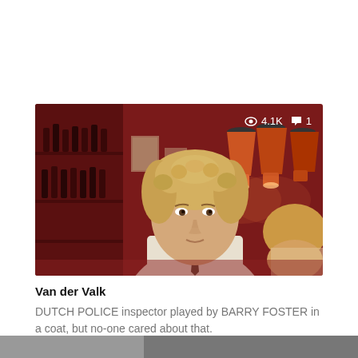[Figure (photo): Scene from Van der Valk TV show: a man with curly blond hair in a white shirt and tie sits in a reddish bar/restaurant interior. Pendant lights visible in background. View count 4.1K and comment count 1 shown as overlay icons.]
Van der Valk
DUTCH POLICE inspector played by BARRY FOSTER in a coat, but no-one cared about that.
[Figure (photo): Partial image visible at bottom of page, cut off.]